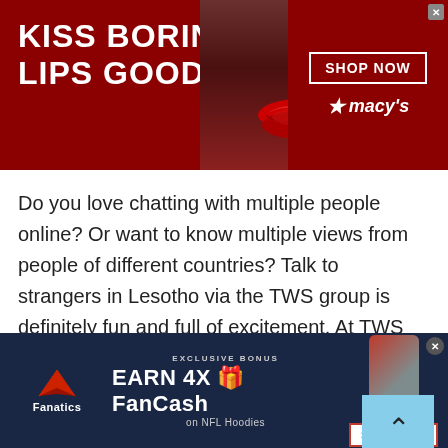[Figure (other): Macy's advertisement banner: dark red background, woman with red lips, text 'KISS BORING LIPS GOODBYE', 'SHOP NOW' button, Macy's star logo]
Do you love chatting with multiple people online? Or want to know multiple views from people of different countries? Talk to strangers in Lesotho via the TWS group is definitely fun and full of excitement. At TWS you have a medium to get different responses from other users in a group chat. Isn't it great you can get to know different people's views, perceptions and opinions on just one platform? Yes, for sure, yes. You don't need to
[Figure (other): Fanatics advertisement banner: dark navy background, Fanatics logo, 'EXCLUSIVE BONUS EARN 4X FanCash on NFL Hoodies', hoodie image, 'SHOP NOW' button]